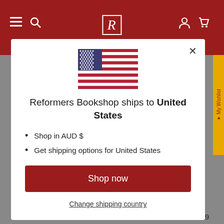Reformers Bookshop — header bar with logo R
[Figure (screenshot): US flag SVG illustration]
Reformers Bookshop ships to United States
Shop in AUD $
Get shipping options for United States
Shop now
Change shipping country
$89.99
$14.99